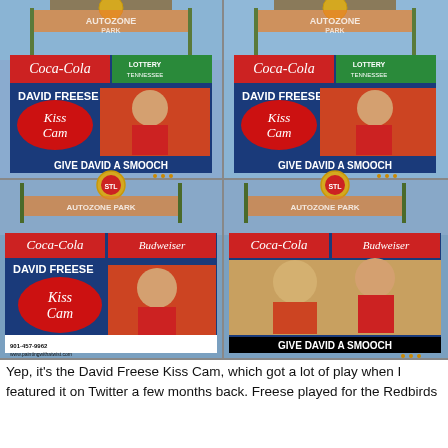[Figure (photo): Four-panel photo collage showing a stadium scoreboard 'Kiss Cam' featuring David Freese at Autozone Park. Top-left: scoreboard shows 'DAVID FREESE Kiss Cam GIVE DAVID A SMOOCH' with Coca-Cola and Tennessee Lottery logos, David pointing finger to cheek. Top-right: same scoreboard, David looking away. Bottom-left: scoreboard with Coca-Cola and Budweiser logos, Kiss Cam with David looking surprised, phone number 901-457-9962 and www.paintingwithatwist.com visible. Bottom-right: scoreboard shows a woman next to David with text 'GIVE DAVID A SMOOCH'.]
Yep, it's the David Freese Kiss Cam, which got a lot of play when I featured it on Twitter a few months back. Freese played for the Redbirds